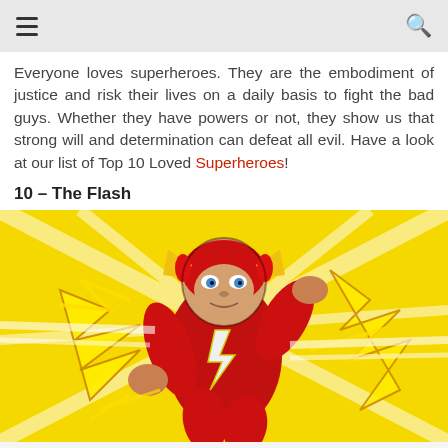≡  🔍
Everyone loves superheroes. They are the embodiment of justice and risk their lives on a daily basis to fight the bad guys. Whether they have powers or not, they show us that strong will and determination can defeat all evil. Have a look at our list of Top 10 Loved Superheroes!
10 – The Flash
[Figure (illustration): Comic book illustration of The Flash superhero in red suit with yellow lightning bolt emblem, running at speed with yellow energy aura around him, on a bright yellow background with dynamic speed lines.]